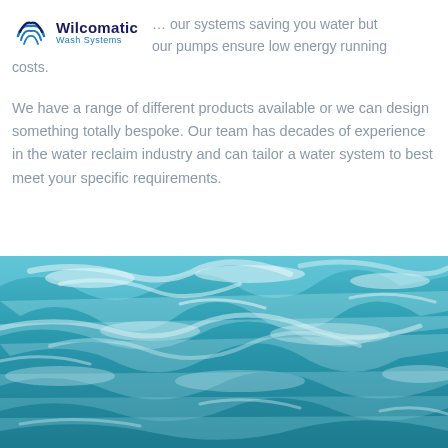[Figure (logo): Wilcomatic Wash Systems logo with wave/steam icon in dark blue and light blue]
… our systems saving you water but our pumps ensure low energy running costs.
We have a range of different products available or we can design something totally bespoke. Our team has decades of experience in the water reclaim industry and can tailor a water system to best meet your specific requirements.
[Figure (photo): Aerial photo of turbulent blue-teal ocean water with white foam and waves]